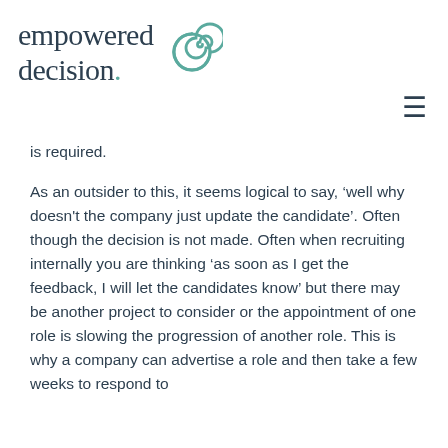[Figure (logo): Empowered Decision logo with teal spiral icon and dark text]
is required.
As an outsider to this, it seems logical to say, ‘well why doesn't the company just update the candidate’. Often though the decision is not made. Often when recruiting internally you are thinking ‘as soon as I get the feedback, I will let the candidates know’ but there may be another project to consider or the appointment of one role is slowing the progression of another role. This is why a company can advertise a role and then take a few weeks to respond to